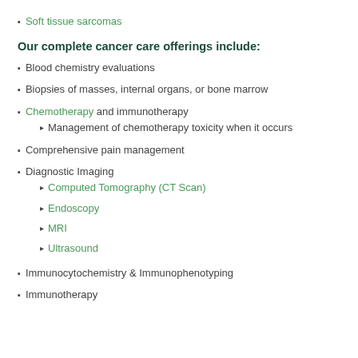Soft tissue sarcomas
Our complete cancer care offerings include:
Blood chemistry evaluations
Biopsies of masses, internal organs, or bone marrow
Chemotherapy and immunotherapy
Management of chemotherapy toxicity when it occurs
Comprehensive pain management
Diagnostic Imaging
Computed Tomography (CT Scan)
Endoscopy
MRI
Ultrasound
Immunocytochemistry & Immunophenotyping
Immunotherapy